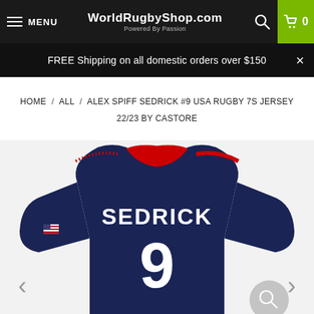MENU | WorldRugbyShop.com Powered By Passion | [search] [cart 0]
FREE Shipping on all domestic orders over $150
HOME / ALL / ALEX SPIFF SEDRICK #9 USA RUGBY 7S JERSEY 22/23 BY CASTORE
[Figure (photo): Back view of a navy blue USA Rugby 7s jersey with red collar trim, player name SEDRICK in white letters and number 9 in white on the back.]